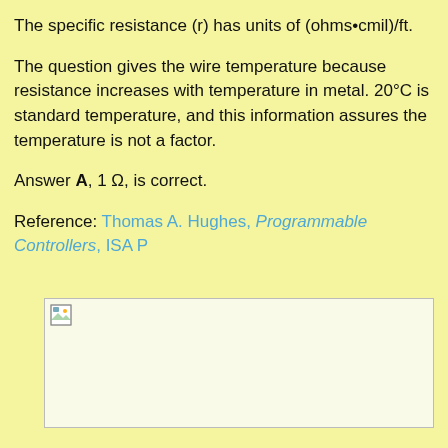The specific resistance (r) has units of (ohms•cmil)/ft.
The question gives the wire temperature because resistance increases with temperature in metal. 20°C is standard temperature, and this information assures the temperature is not a factor.
Answer A, 1 Ω, is correct.
Reference: Thomas A. Hughes, Programmable Controllers, ISA P
[Figure (photo): Broken/missing image placeholder icon]